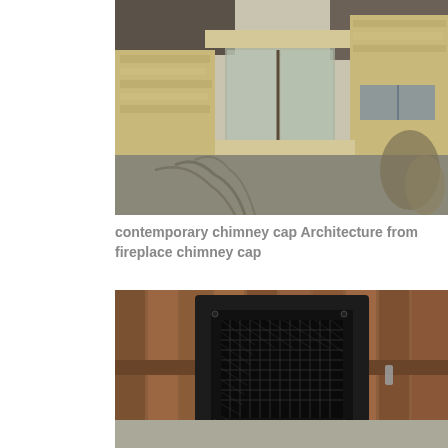[Figure (photo): Contemporary house exterior with stone and stucco facade, glass entry doors, flat/sloped rooflines, driveway with palm tree shadows]
contemporary chimney cap Architecture from fireplace chimney cap
[Figure (photo): Black square chimney cap with mesh screen, mounted against a wooden fence backdrop]